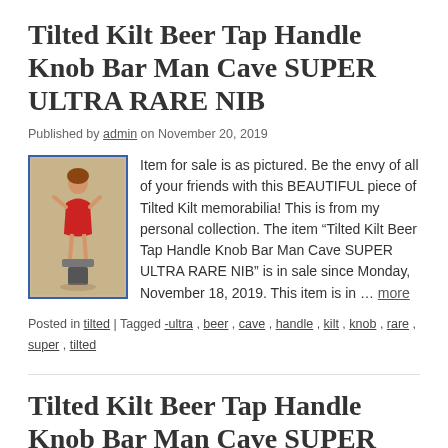Tilted Kilt Beer Tap Handle Knob Bar Man Cave SUPER ULTRA RARE NIB
Published by admin on November 20, 2019
[Figure (photo): Photo of a Tilted Kilt beer tap handle knob figurine mounted on a grey base, shown against a tan/brown background, with a blue border.]
Item for sale is as pictured. Be the envy of all of your friends with this BEAUTIFUL piece of Tilted Kilt memorabilia! This is from my personal collection. The item “Tilted Kilt Beer Tap Handle Knob Bar Man Cave SUPER ULTRA RARE NIB” is in sale since Monday, November 18, 2019. This item is in … more
Posted in tilted | Tagged -ultra , beer , cave , handle , kilt , knob , rare , super , tilted
Tilted Kilt Beer Tap Handle Knob Bar Man Cave SUPER ULTRA RARE NIB